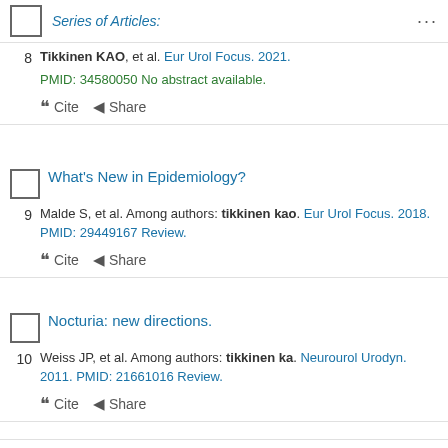Series of Articles:
8. Tikkinen KAO, et al. Eur Urol Focus. 2021. PMID: 34580050 No abstract available.
What's New in Epidemiology? 9. Malde S, et al. Among authors: tikkinen kao. Eur Urol Focus. 2018. PMID: 29449167 Review.
Nocturia: new directions. 10. Weiss JP, et al. Among authors: tikkinen ka. Neurourol Urodyn. 2011. PMID: 21661016 Review.